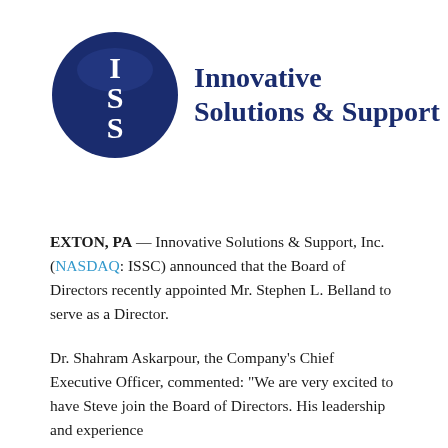[Figure (logo): Innovative Solutions & Support logo: circular dark blue emblem with white ISS letters, next to dark blue bold serif text reading 'Innovative Solutions & Support']
EXTON, PA — Innovative Solutions & Support, Inc. (NASDAQ: ISSC) announced that the Board of Directors recently appointed Mr. Stephen L. Belland to serve as a Director.
Dr. Shahram Askarpour, the Company's Chief Executive Officer, commented: "We are very excited to have Steve join the Board of Directors. His leadership and experience